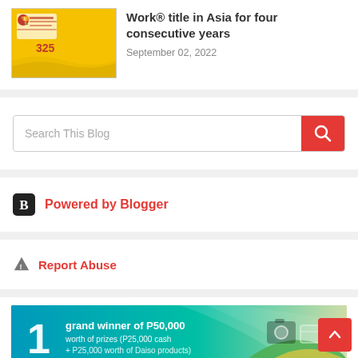[Figure (screenshot): Thumbnail image with yellow background for article about Work title in Asia]
Work® title in Asia for four consecutive years
September 02, 2022
Search This Blog
Powered by Blogger
Report Abuse
[Figure (screenshot): Promotional banner: 1 grand winner of P50,000 worth of prizes (P25,000 cash + P25,000 worth of Daiso products)]